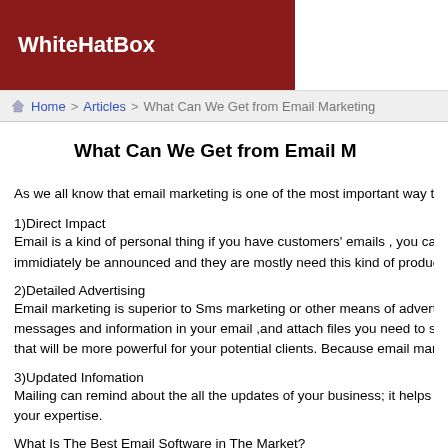WhiteHatBox
Home > Articles > What Can We Get from Email Marketing
What Can We Get from Email M
As we all know that email marketing is one of the most important way to bri
1)Direct Impact
Email is a kind of personal thing if you have customers' emails , you can sen immidiately be announced and they are mostly need this kind of product you
2)Detailed Advertising
Email marketing is superior to Sms marketing or other means of advertising messages and information in your email ,and attach files you need to send ,y that will be more powerful for your potential clients. Because email marketin
3)Updated Infomation
Mailing can remind about the all the updates of your business; it helps to pre your expertise.
What Is The Best Email Software in The Market?